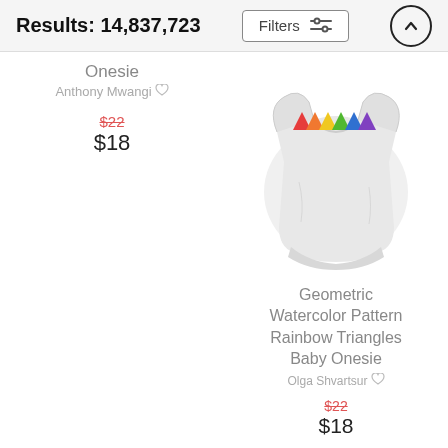Results: 14,837,723
Onesie
Anthony Mwangi
$22
$18
[Figure (photo): White baby onesie with rainbow geometric triangle pattern at the neckline]
Geometric Watercolor Pattern Rainbow Triangles Baby Onesie
Olga Shvartsur
$22
$18